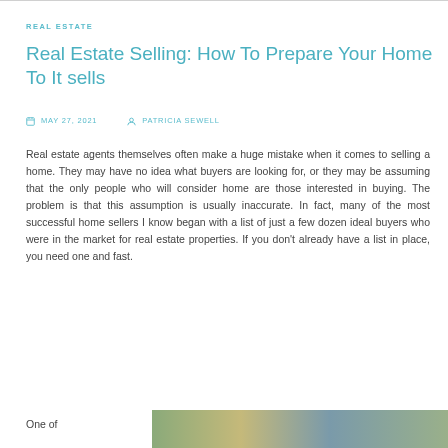REAL ESTATE
Real Estate Selling: How To Prepare Your Home To It sells
MAY 27, 2021   PATRICIA SEWELL
Real estate agents themselves often make a huge mistake when it comes to selling a home. They may have no idea what buyers are looking for, or they may be assuming that the only people who will consider home are those interested in buying. The problem is that this assumption is usually inaccurate. In fact, many of the most successful home sellers I know began with a list of just a few dozen ideal buyers who were in the market for real estate properties. If you don't already have a list in place, you need one and fast.
One of